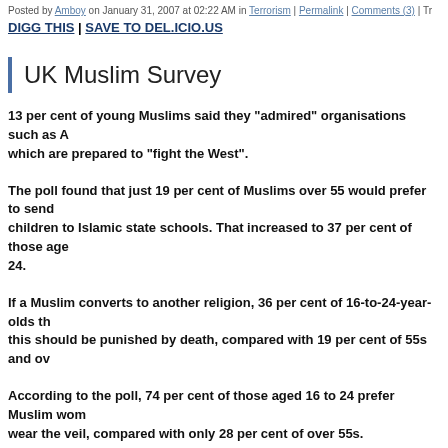Posted by Amboy on January 31, 2007 at 02:22 AM in Terrorism | Permalink | Comments (3) | Tr...
DIGG THIS | SAVE TO DEL.ICIO.US
UK Muslim Survey
13 per cent of young Muslims said they "admired" organisations such as A... which are prepared to "fight the West".
The poll found that just 19 per cent of Muslims over 55 would prefer to send children to Islamic state schools. That increased to 37 per cent of those age 24.
If a Muslim converts to another religion, 36 per cent of 16-to-24-year-olds th... this should be punished by death, compared with 19 per cent of 55s and ov...
According to the poll, 74 per cent of those aged 16 to 24 prefer Muslim wom... wear the veil, compared with only 28 per cent of over 55s.